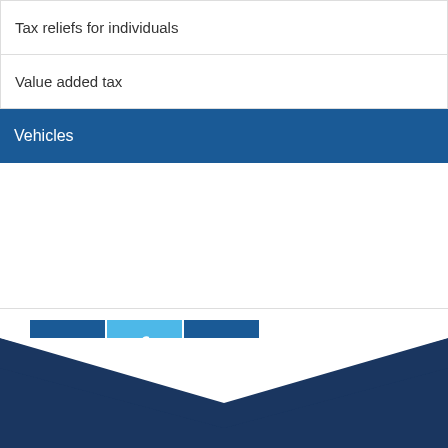Tax reliefs for individuals
Value added tax
Vehicles
[Figure (infographic): Social media icons: Facebook (dark blue), Twitter (light blue), LinkedIn (dark blue)]
Site Search...